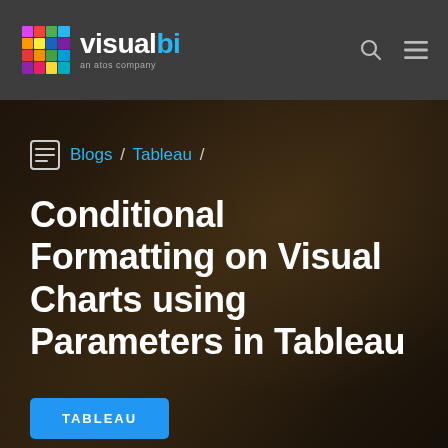visualbi — an atos company
Blogs / Tableau /
Conditional Formatting on Visual Charts using Parameters in Tableau
TABLEAU